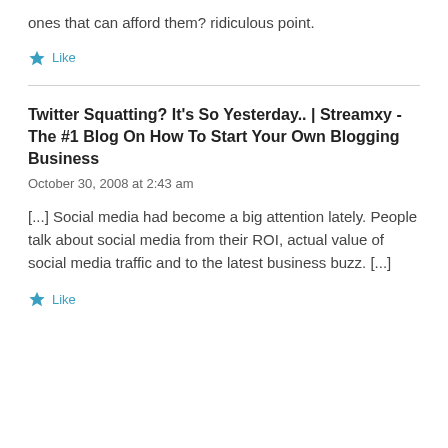ones that can afford them? ridiculous point.
Like
Twitter Squatting? It's So Yesterday.. | Streamxy - The #1 Blog On How To Start Your Own Blogging Business
October 30, 2008 at 2:43 am
[...] Social media had become a big attention lately. People talk about social media from their ROI, actual value of social media traffic and to the latest business buzz. [...]
Like